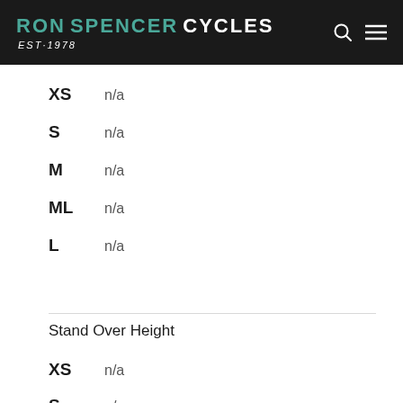RON SPENCER CYCLES EST·1978
XS   n/a
S   n/a
M   n/a
ML   n/a
L   n/a
Stand Over Height
XS   n/a
S   n/a